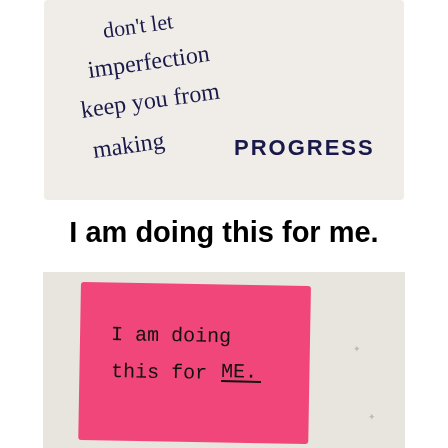[Figure (photo): Handwritten note on white card paper reading: 'don't let imperfection keep you from making PROGRESS']
I am doing this for me.
[Figure (photo): Pink sticky note on white surface reading: 'I am doing this for ME.' with ME underlined]